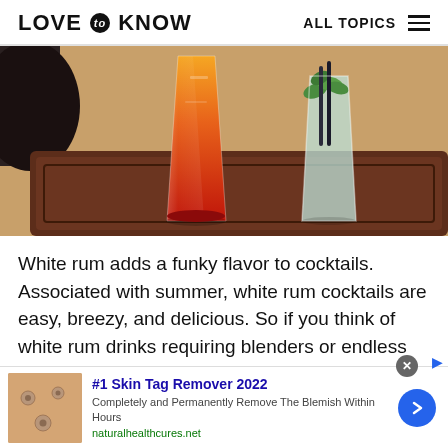LOVE to KNOW   ALL TOPICS
[Figure (photo): Two cocktail drinks on a dark wooden tray: a tall gradient orange-to-red drink on the left and a clear glass with mint garnish on the right]
White rum adds a funky flavor to cocktails. Associated with summer, white rum cocktails are easy, breezy, and delicious. So if you think of white rum drinks requiring blenders or endless muddling,
[Figure (infographic): Advertisement: #1 Skin Tag Remover 2022 - Completely and Permanently Remove The Blemish Within Hours - naturalhealthcures.net]